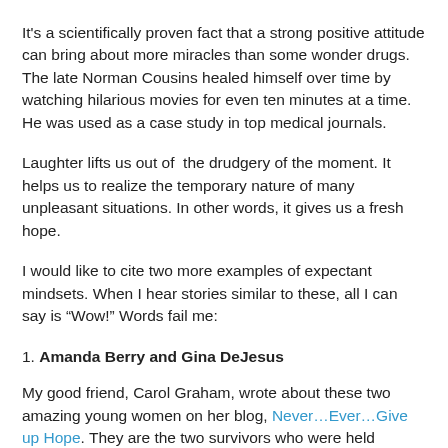It's a scientifically proven fact that a strong positive attitude can bring about more miracles than some wonder drugs. The late Norman Cousins healed himself over time by watching hilarious movies for even ten minutes at a time. He was used as a case study in top medical journals.
Laughter lifts us out of  the drudgery of the moment. It helps us to realize the temporary nature of many unpleasant situations. In other words, it gives us a fresh hope.
I would like to cite two more examples of expectant mindsets. When I hear stories similar to these, all I can say is “Wow!” Words fail me:
1. Amanda Berry and Gina DeJesus
My good friend, Carol Graham, wrote about these two amazing young women on her blog, Never…Ever…Give up Hope. They are the two survivors who were held captive in Ariel Castro’s Cleveland, Ohio house for a decade. In an environment of squalor, they were tortured and brutalized in